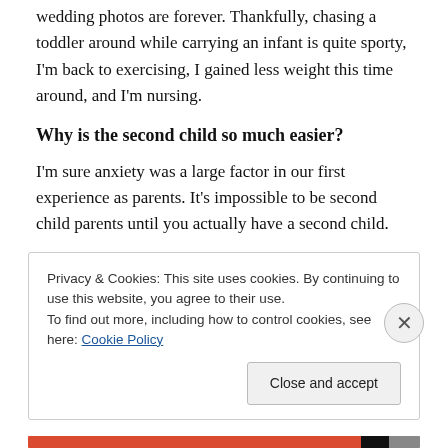wedding photos are forever. Thankfully, chasing a toddler around while carrying an infant is quite sporty, I'm back to exercising, I gained less weight this time around, and I'm nursing.
Why is the second child so much easier?
I'm sure anxiety was a large factor in our first experience as parents. It's impossible to be second child parents until you actually have a second child.
Parenting is more fun this go round since we aren't
Privacy & Cookies: This site uses cookies. By continuing to use this website, you agree to their use.
To find out more, including how to control cookies, see here: Cookie Policy